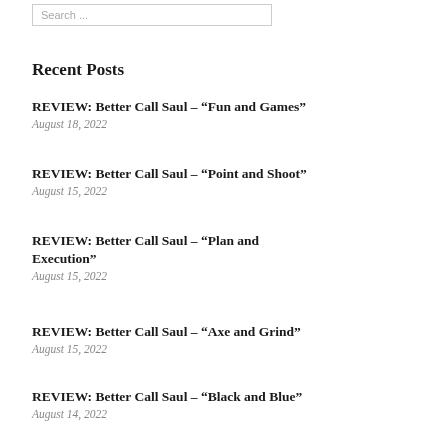[Figure (other): Search input box with placeholder text 'Search ...']
Recent Posts
REVIEW: Better Call Saul – “Fun and Games”
August 18, 2022
REVIEW: Better Call Saul – “Point and Shoot”
August 15, 2022
REVIEW: Better Call Saul – “Plan and Execution”
August 15, 2022
REVIEW: Better Call Saul – “Axe and Grind”
August 15, 2022
REVIEW: Better Call Saul – “Black and Blue”
August 14, 2022